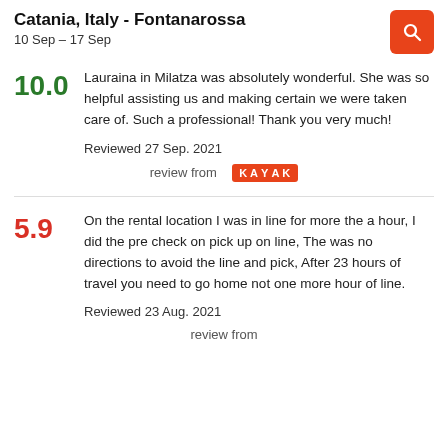Catania, Italy - Fontanarossa
10 Sep – 17 Sep
Lauraina in Milatza was absolutely wonderful. She was so helpful assisting us and making certain we were taken care of. Such a professional! Thank you very much!

Reviewed 27 Sep. 2021

review from KAYAK
On the rental location I was in line for more the a hour, I did the pre check on pick up on line, The was no directions to avoid the line and pick, After 23 hours of travel you need to go home not one more hour of line.

Reviewed 23 Aug. 2021

review from